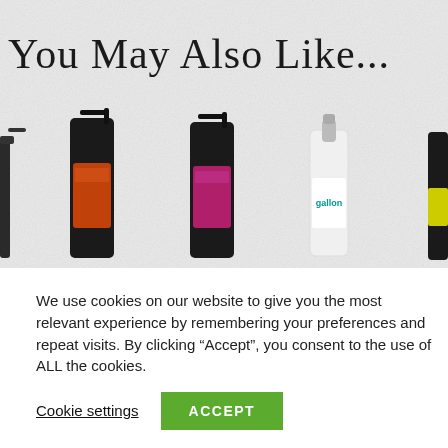You May Also Like...
[Figure (photo): Row of spray bottles and product bottles shown as product recommendations on an e-commerce page. Includes dark spray bottles with orange and pink labels, a white gallon bottle, and other bottles partially visible at edges.]
We use cookies on our website to give you the most relevant experience by remembering your preferences and repeat visits. By clicking “Accept”, you consent to the use of ALL the cookies.
Cookie settings
ACCEPT